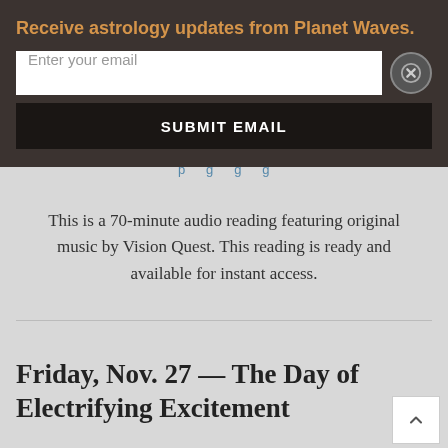Receive astrology updates from Planet Waves.
Enter your email
SUBMIT EMAIL
This is a 70-minute audio reading featuring original music by Vision Quest. This reading is ready and available for instant access.
Friday, Nov. 27 — The Day of Electrifying Excitement
If today is your birthday: You will live up to the “electrifying excitement” name of your birthday this year, as an unusual, rather amazing aspect